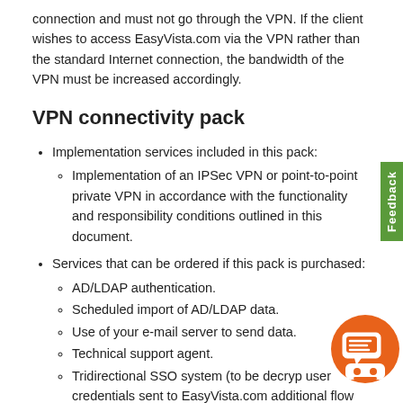connection and must not go through the VPN. If the client wishes to access EasyVista.com via the VPN rather than the standard Internet connection, the bandwidth of the VPN must be increased accordingly.
VPN connectivity pack
Implementation services included in this pack:
Implementation of an IPSec VPN or point-to-point private VPN in accordance with the functionality and responsibility conditions outlined in this document.
Services that can be ordered if this pack is purchased:
AD/LDAP authentication.
Scheduled import of AD/LDAP data.
Use of your e-mail server to send data.
Technical support agent.
Tridirectional SSO system (to be decrypted user credentials sent to EasyVista.com additional flow with your servers).
Read-only access to data through an SQL Server account for the purposes of creating reports.